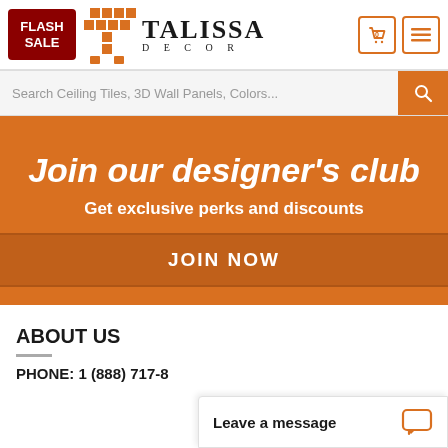[Figure (screenshot): Header with Flash Sale button, Talissa Decor logo with orange tile T graphic, shopping cart icon showing 0, and hamburger menu icon]
Search Ceiling Tiles, 3D Wall Panels, Colors...
Join our designer's club
Get exclusive perks and discounts
JOIN NOW
ABOUT US
PHONE: 1 (888) 717-8...
Leave a message